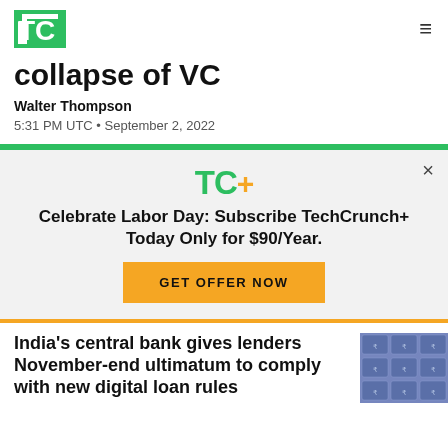TechCrunch logo + navigation
collapse of VC
Walter Thompson
5:31 PM UTC • September 2, 2022
[Figure (other): TechCrunch+ subscription advertisement overlay with logo, offer text, and CTA button]
India's central bank gives lenders November-end ultimatum to comply with new digital loan rules
[Figure (photo): Indian currency notes arranged in a grid pattern, purple-toned image]